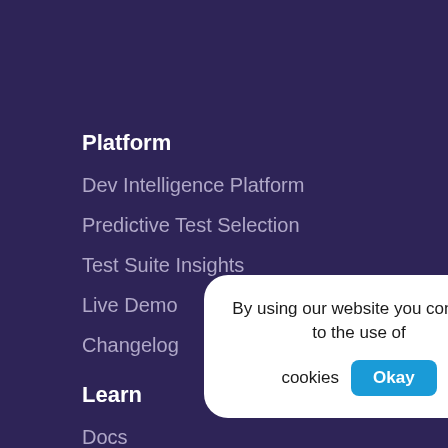Platform
Dev Intelligence Platform
Predictive Test Selection
Test Suite Insights
Live Demo
Changelog
Learn
Docs
How it works
White pape
FAQ
Integrations
By using our website you consent to the use of cookies  Okay